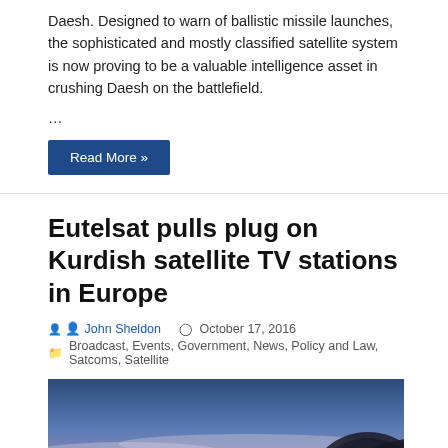Daesh. Designed to warn of ballistic missile launches, the sophisticated and mostly classified satellite system is now proving to be a valuable intelligence asset in crushing Daesh on the battlefield.
…
Read More »
Eutelsat pulls plug on Kurdish satellite TV stations in Europe
John Sheldon   October 17, 2016
Broadcast, Events, Government, News, Policy and Law, Satcoms, Satellite
[Figure (photo): Satellite dish silhouetted against a colorful sunset sky with blue, pink, and orange hues and clouds]